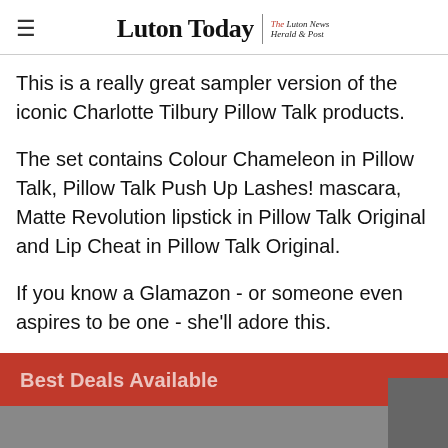Luton Today | The Luton News Herald & Post
This is a really great sampler version of the iconic Charlotte Tilbury Pillow Talk products.
The set contains Colour Chameleon in Pillow Talk, Pillow Talk Push Up Lashes! mascara, Matte Revolution lipstick in Pillow Talk Original and Lip Cheat in Pillow Talk Original.
If you know a Glamazon - or someone even aspires to be one - she'll adore this.
Best Deals Available